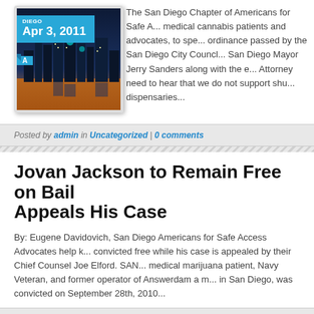[Figure (photo): City skyline photo of San Diego at dusk with date badge overlay reading Apr 3, 2011]
The San Diego Chapter of Americans for Safe A... medical cannabis patients and advocates, to spe... ordinance passed by the San Diego City Council... San Diego Mayor Jerry Sanders along with the e... Attorney need to hear that we do not support shu... dispensaries...
Posted by admin in Uncategorized | 0 comments
Jovan Jackson to Remain Free on Bail Appeals His Case
By: Eugene Davidovich, San Diego Americans for Safe Access Advocates help k... convicted free while his case is appealed by their Chief Counsel Joe Elford. SAN... medical marijuana patient, Navy Veteran, and former operator of Answerdam a m... in San Diego, was convicted on September 28th, 2010...
Posted by admin in Uncategorized | 0 comments